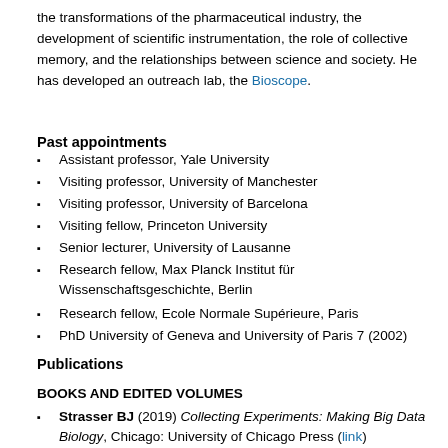the transformations of the pharmaceutical industry, the development of scientific instrumentation, the role of collective memory, and the relationships between science and society. He has developed an outreach lab, the Bioscope.
Past appointments
Assistant professor, Yale University
Visiting professor, University of Manchester
Visiting professor, University of Barcelona
Visiting fellow, Princeton University
Senior lecturer, University of Lausanne
Research fellow, Max Planck Institut für Wissenschaftsgeschichte, Berlin
Research fellow, Ecole Normale Supérieure, Paris
PhD University of Geneva and University of Paris 7 (2002)
Publications
BOOKS AND EDITED VOLUMES
Strasser BJ (2019) Collecting Experiments: Making Big Data Biology, Chicago: University of Chicago Press (link)